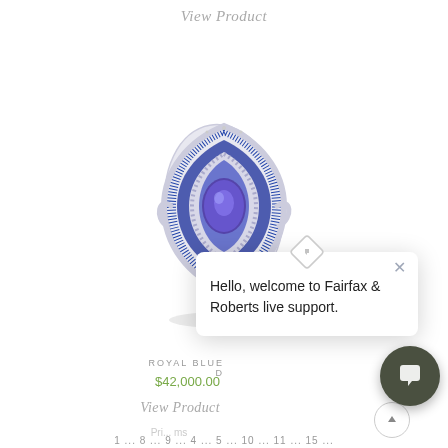View Product
[Figure (photo): A luxury ring with a marquise-cut blue/purple gemstone center stone, surrounded by blue enamel and diamond pavé set in white metal, with swirling design accents]
ROYAL BLUE D
$42,000.00
View Product
[Figure (screenshot): Live chat popup widget showing diamond/rhombus icon at top and text: Hello, welcome to Fairfax & Roberts live support. With an X close button.]
[Figure (other): Dark circular chat support button with speech bubble icon]
1 ... 8 ... 9 ... 4 ... 5 ... 10 ... 11 ... 15 ...